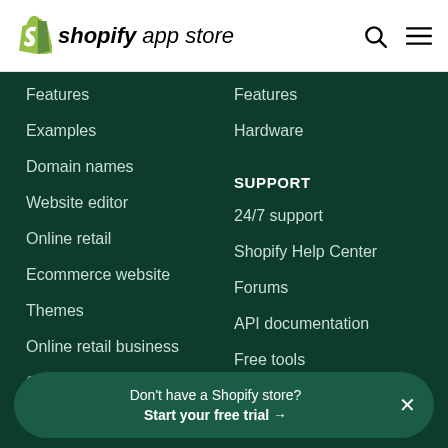Shopify App Store
Features
Examples
Domain names
Website editor
Online retail
Ecommerce website
Themes
Online retail business
Shopping cart
Ecommerce hosting
Features
Hardware
SUPPORT
24/7 support
Shopify Help Center
Forums
API documentation
Free tools
Partner program
Don't have a Shopify store? Start your free trial →